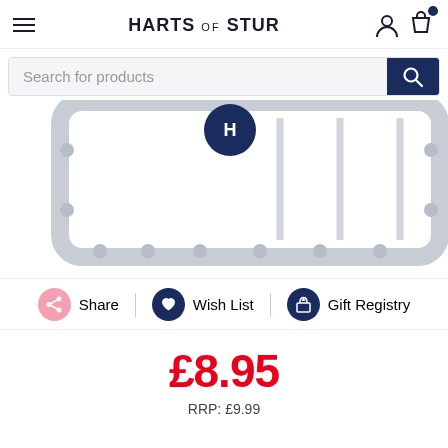HARTS of STUR
Search for products
[Figure (photo): Close-up product photo of a white/light grey wire rack or grid accessory with rounded corner frame and small rubber feet/knobs along the edges, with a dark navy circular logo visible at top center.]
Share | Wish List | Gift Registry
£8.95
RRP: £9.99